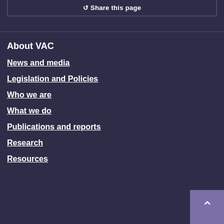Share this page
About VAC
News and media
Legislation and Policies
Who we are
What we do
Publications and reports
Research
Resources